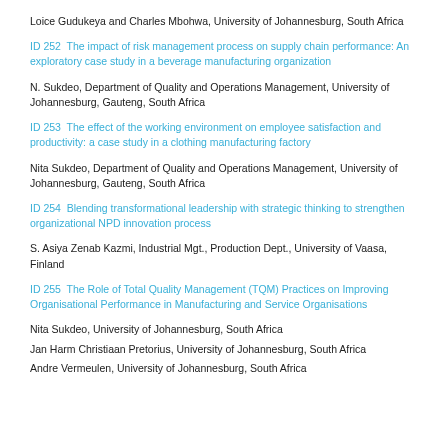Loice Gudukeya and Charles Mbohwa, University of Johannesburg, South Africa
ID 252  The impact of risk management process on supply chain performance: An exploratory case study in a beverage manufacturing organization
N. Sukdeo, Department of Quality and Operations Management, University of Johannesburg, Gauteng, South Africa
ID 253  The effect of the working environment on employee satisfaction and productivity: a case study in a clothing manufacturing factory
Nita Sukdeo, Department of Quality and Operations Management, University of Johannesburg, Gauteng, South Africa
ID 254  Blending transformational leadership with strategic thinking to strengthen organizational NPD innovation process
S. Asiya Zenab Kazmi, Industrial Mgt., Production Dept., University of Vaasa, Finland
ID 255  The Role of Total Quality Management (TQM) Practices on Improving Organisational Performance in Manufacturing and Service Organisations
Nita Sukdeo, University of Johannesburg, South Africa
Jan Harm Christiaan Pretorius, University of Johannesburg, South Africa
Andre Vermeulen, University of Johannesburg, South Africa